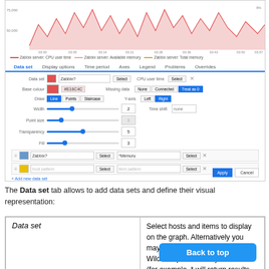[Figure (screenshot): Screenshot of a graph configuration UI showing a Data set tab with form fields for configuring data sets including color, draw style, width, point size, transparency, fill sliders, and dataset rows with Select buttons. An area chart is shown at the top of the screenshot.]
The Data set tab allows to add data sets and define their visual representation:
| Data set |  |
| --- | --- |
| Data set | Select hosts and items to display on the graph. Alternatively you may use host and item patterns. Wildcard patterns may be used (for example, * will return results |